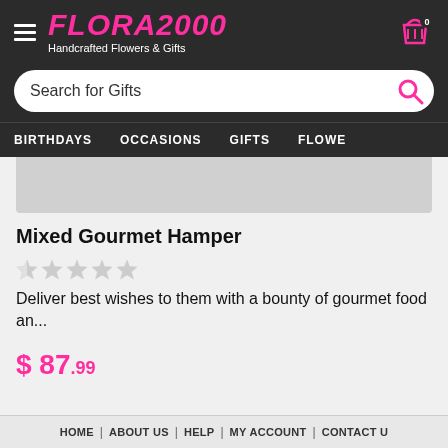FLORA2000 Handcrafted Flowers & Gifts
Search for Gifts
BIRTHDAYS | OCCASIONS | GIFTS | FLOWERS
[Figure (photo): Partial product image placeholder (gray box, top portion of product photo cropped)]
Mixed Gourmet Hamper
Deliver best wishes to them with a bounty of gourmet food an...
$ 87.99
HOME | ABOUT US | HELP | MY ACCOUNT | CONTACT US